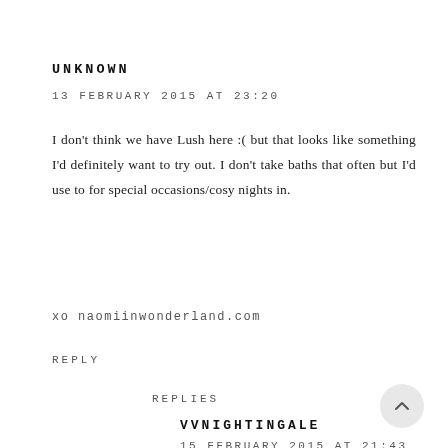UNKNOWN
13 FEBRUARY 2015 AT 23:20
I don't think we have Lush here :( but that looks like something I'd definitely want to try out. I don't take baths that often but I'd use to for special occasions/cosy nights in.
xo naomiinwonderland.com
REPLY
REPLIES
VVNIGHTINGALE
15 FEBRUARY 2015 AT 21:43